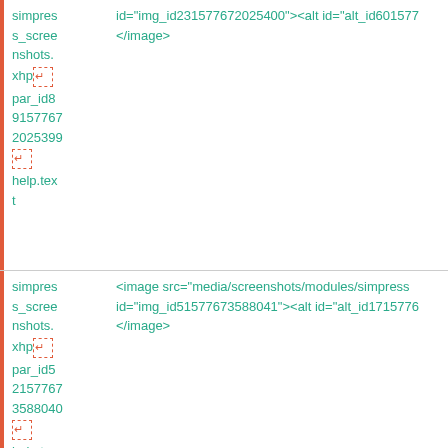simpress_screenshots.xhp
par_id8
9157767
2025399
[enter icon]
help.text
id="img_id231577672025400"><alt id="alt_id601577...</antml:image>
simpress_screenshots.xhp
par_id5
2157767
3588040
[enter icon]
help.text
<image src="media/screenshots/modules/simpress
id="img_id51577673588041"><alt id="alt_id1715776...</antml:image>